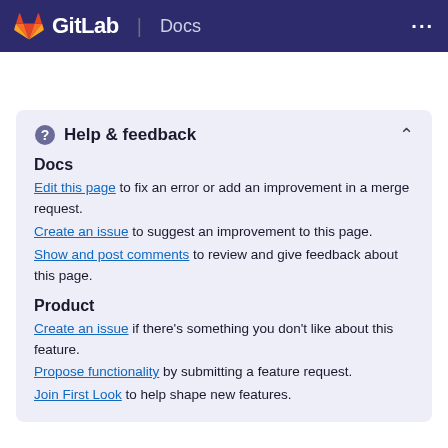GitLab Docs
Help & feedback
Docs
Edit this page to fix an error or add an improvement in a merge request.
Create an issue to suggest an improvement to this page.
Show and post comments to review and give feedback about this page.
Product
Create an issue if there's something you don't like about this feature.
Propose functionality by submitting a feature request.
Join First Look to help shape new features.